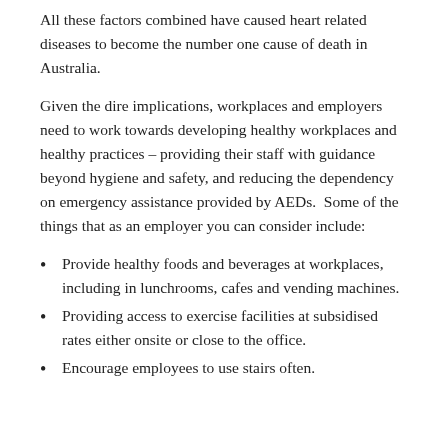All these factors combined have caused heart related diseases to become the number one cause of death in Australia.
Given the dire implications, workplaces and employers need to work towards developing healthy workplaces and healthy practices – providing their staff with guidance beyond hygiene and safety, and reducing the dependency on emergency assistance provided by AEDs.  Some of the things that as an employer you can consider include:
Provide healthy foods and beverages at workplaces, including in lunchrooms, cafes and vending machines.
Providing access to exercise facilities at subsidised rates either onsite or close to the office.
Encourage employees to use stairs often.